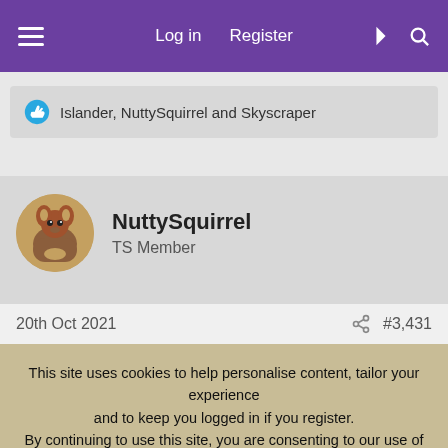Log in  Register
Islander, NuttySquirrel and Skyscraper
NuttySquirrel
TS Member
20th Oct 2021  #3,431
This site uses cookies to help personalise content, tailor your experience and to keep you logged in if you register.
By continuing to use this site, you are consenting to our use of cookies.